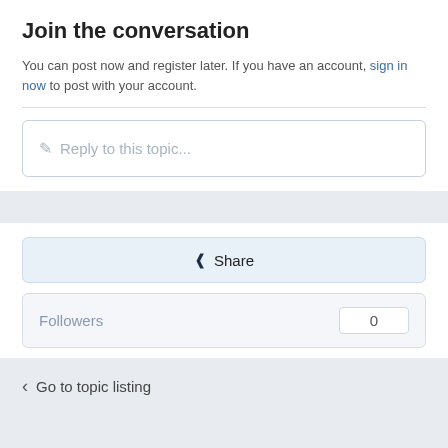Join the conversation
You can post now and register later. If you have an account, sign in now to post with your account.
Reply to this topic...
Share
Followers  0
Go to topic listing
Theme  Privacy Policy  Contact Us